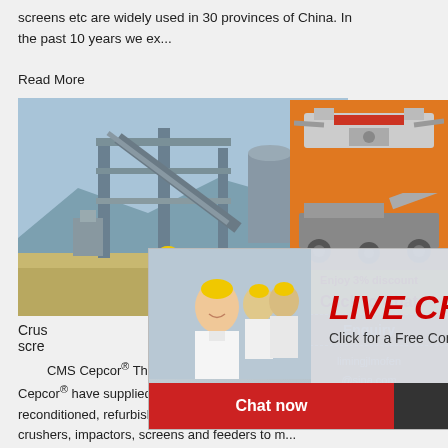screens etc are widely used in 30 provinces of China. In the past 10 years we ex...
Read More
[Figure (photo): Industrial plant/factory with metal structures and blue sky background]
Crus...
scre...
CMS Cepcor® The difference since 1960... Cepcor® have supplied hundreds of new, factory reconditioned, refurbished and used jaw crushers, cone crushers, impactors, screens and feeders to m... aggregate processing; establishing a worldwide reputation for the supply of quality crushing and screening plant. We are experts in the re-build... crushers, screens and feeders originally ...
[Figure (photo): Orange sidebar with machinery images, discount offer, enquiry section with limingjlmofen@sina.com]
[Figure (screenshot): Live chat popup with worker photo, LIVE CHAT text, Click for a Free Consultation, Chat now and Chat later buttons]